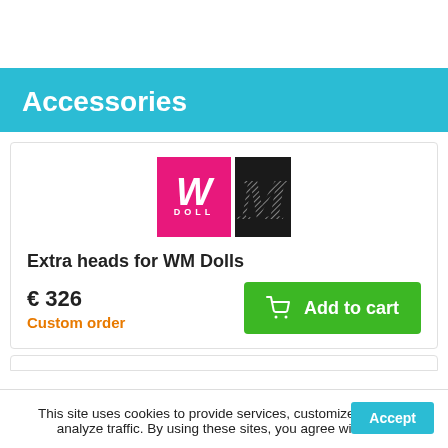Accessories
[Figure (logo): WM Doll logo — pink square with stylized WW and DOLL text, next to black square with textured M letter]
Extra heads for WM Dolls
€ 326
Custom order
Add to cart
This site uses cookies to provide services, customize ads, and analyze traffic. By using these sites, you agree with this.